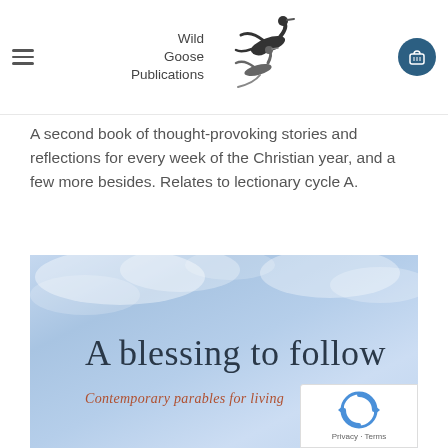Wild Goose Publications
A second book of thought-provoking stories and reflections for every week of the Christian year, and a few more besides. Relates to lectionary cycle A.
[Figure (illustration): Book cover for 'A blessing to follow: Contemporary parables for living' with a light blue sky background with clouds. Title text in dark grey serif font, subtitle in terracotta/rust italic font.]